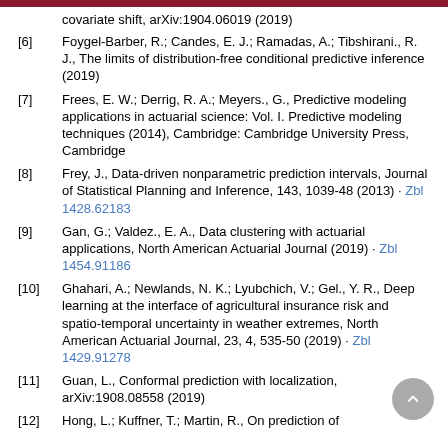[6] Foygel-Barber, R.; Candes, E. J.; Ramadas, A.; Tibshirani., R. J., The limits of distribution-free conditional predictive inference (2019)
[7] Frees, E. W.; Derrig, R. A.; Meyers., G., Predictive modeling applications in actuarial science: Vol. I. Predictive modeling techniques (2014), Cambridge: Cambridge University Press, Cambridge
[8] Frey, J., Data-driven nonparametric prediction intervals, Journal of Statistical Planning and Inference, 143, 1039-48 (2013) · Zbl 1428.62183
[9] Gan, G.; Valdez., E. A., Data clustering with actuarial applications, North American Actuarial Journal (2019) · Zbl 1454.91186
[10] Ghahari, A.; Newlands, N. K.; Lyubchich, V.; Gel., Y. R., Deep learning at the interface of agricultural insurance risk and spatio-temporal uncertainty in weather extremes, North American Actuarial Journal, 23, 4, 535-50 (2019) · Zbl 1429.91278
[11] Guan, L., Conformal prediction with localization, arXiv:1908.08558 (2019)
[12] Hong, L.; Kuffner, T.; Martin, R., On prediction of